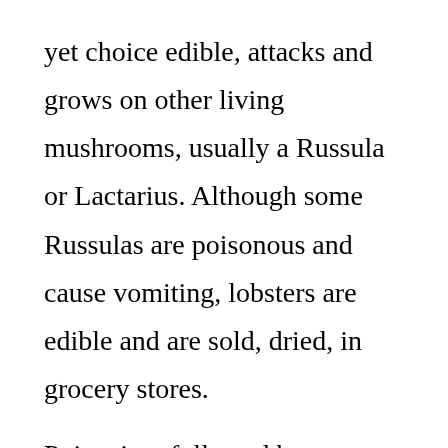yet choice edible, attacks and grows on other living mushrooms, usually a Russula or Lactarius. Although some Russulas are poisonous and cause vomiting, lobsters are edible and are sold, dried, in grocery stores.
Poisoning, followed by a horrific death, typically jumps to mind at the suggestion of eating wild mushrooms. A few types of mushrooms, like Destroying Angels, cause death upon the ingestion of a single mushroom. Despite widespread fungophobia